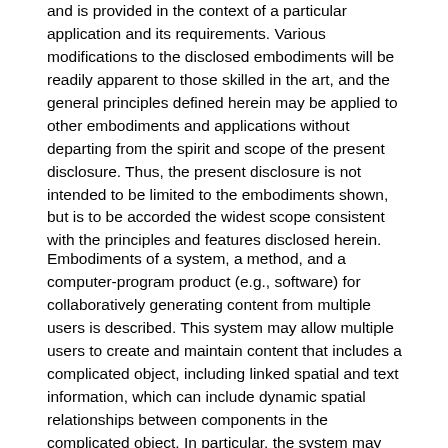and is provided in the context of a particular application and its requirements. Various modifications to the disclosed embodiments will be readily apparent to those skilled in the art, and the general principles defined herein may be applied to other embodiments and applications without departing from the spirit and scope of the present disclosure. Thus, the present disclosure is not intended to be limited to the embodiments shown, but is to be accorded the widest scope consistent with the principles and features disclosed herein.
Embodiments of a system, a method, and a computer-program product (e.g., software) for collaboratively generating content from multiple users is described. This system may allow multiple users to create and maintain content that includes a complicated object, including linked spatial and text information, which can include dynamic spatial relationships between components in the complicated object. In particular, the system may receive one or more modifications to content associated with the complicated object from one or more users, and may provide signals to display the modified complicated object in a 3-d space or virtual environment on a display based at